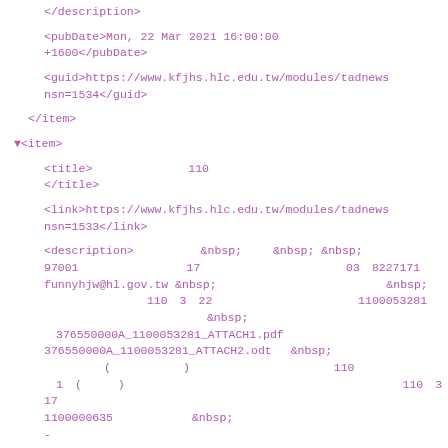XML/RSS feed code snippet showing item elements with title, link, description, pubDate, and guid tags from kfjhs.hlc.edu.tw